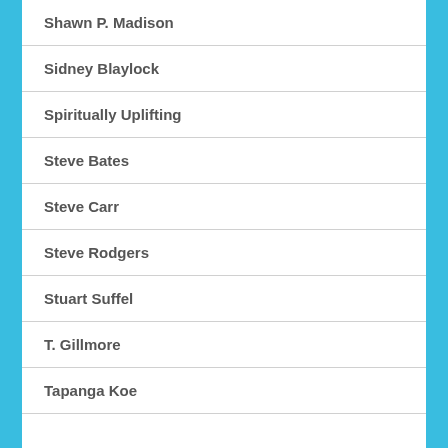Shawn P. Madison
Sidney Blaylock
Spiritually Uplifting
Steve Bates
Steve Carr
Steve Rodgers
Stuart Suffel
T. Gillmore
Tapanga Koe